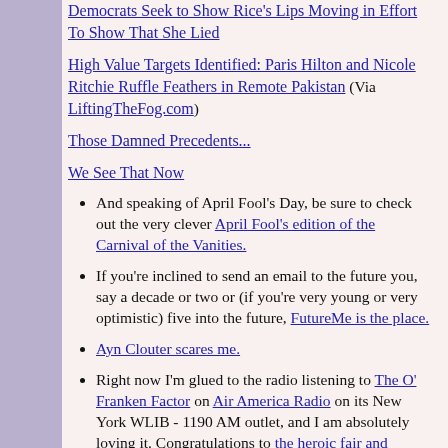Democrats Seek to Show Rice's Lips Moving in Effort To Show That She Lied
High Value Targets Identified: Paris Hilton and Nicole Ritchie Ruffle Feathers in Remote Pakistan (Via LiftingTheFog.com)
Those Damned Precedents...
We See That Now
And speaking of April Fool's Day, be sure to check out the very clever April Fool's edition of the Carnival of the Vanities.
If you're inclined to send an email to the future you, say a decade or two or (if you're very young or very optimistic) five into the future, FutureMe is the place.
Ayn Clouter scares me.
Right now I'm glued to the radio listening to The O' Franken Factor on Air America Radio on its New York WLIB - 1190 AM outlet, and I am absolutely loving it. Congratulations to the heroic fair and balanced Al Franken and his expanding broadcast.